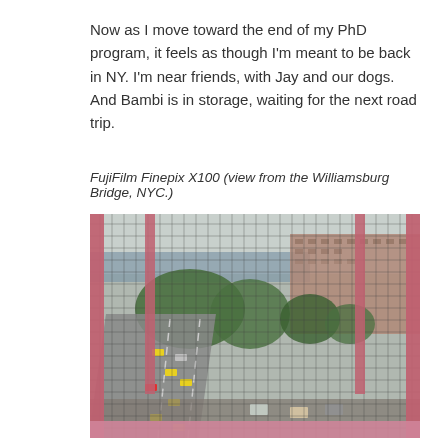Now as I move toward the end of my PhD program, it feels as though I'm meant to be back in NY. I'm near friends, with Jay and our dogs. And Bambi is in storage, waiting for the next road trip.
FujiFilm Finepix X100 (view from the Williamsburg Bridge, NYC.)
[Figure (photo): Aerial view from the Williamsburg Bridge in NYC, showing a highway with cars below, trees, tall residential buildings on the right, and the East River in the background, framed by pink/red bridge structural elements and a wire mesh fence in the foreground.]